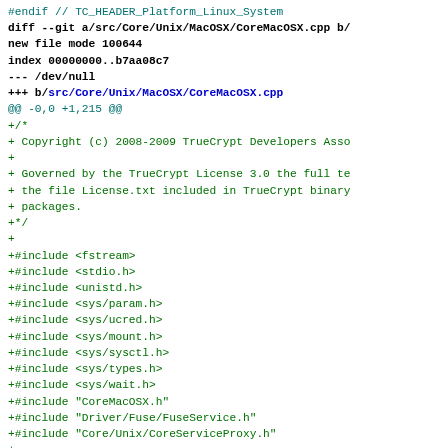diff --git a/src/Core/Unix/MacOSX/CoreMacOSX.cpp b/
new file mode 100644
index 00000000..b7aa08c7
--- /dev/null
+++ b/src/Core/Unix/MacOSX/CoreMacOSX.cpp
@@ -0,0 +1,215 @@
+/*
+ Copyright (c) 2008-2009 TrueCrypt Developers Asso
+
+ Governed by the TrueCrypt License 3.0 the full te
+ the file License.txt included in TrueCrypt binary
+ packages.
+*/
+
+#include <fstream>
+#include <stdio.h>
+#include <unistd.h>
+#include <sys/param.h>
+#include <sys/ucred.h>
+#include <sys/mount.h>
+#include <sys/sysctl.h>
+#include <sys/types.h>
+#include <sys/wait.h>
+#include "CoreMacOSX.h"
+#include "Driver/Fuse/FuseService.h"
+#include "Core/Unix/CoreServiceProxy.h"
+
+namespace TrueCrypt
+{